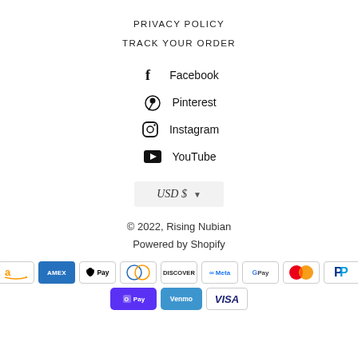PRIVACY POLICY
TRACK YOUR ORDER
Facebook
Pinterest
Instagram
YouTube
USD $
© 2022, Rising Nubian
Powered by Shopify
[Figure (other): Payment method icons: Amazon, American Express, Apple Pay, Diners Club, Discover, Meta Pay, Google Pay, Mastercard, PayPal, Shop Pay, Venmo, Visa]